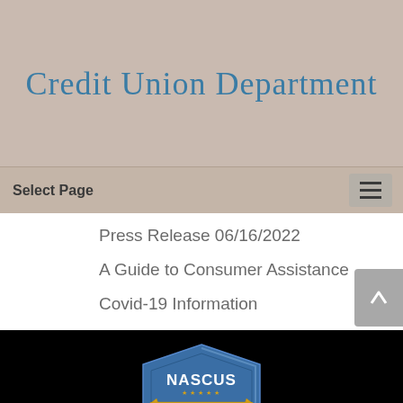Credit Union Department
Select Page
Press Release 06/16/2022
A Guide to Consumer Assistance
Covid-19 Information
[Figure (logo): NASCUS Accredited shield logo with Est. 1989]
Texas Onli...t Homelandecuri...t Statewide Credi...Uni...